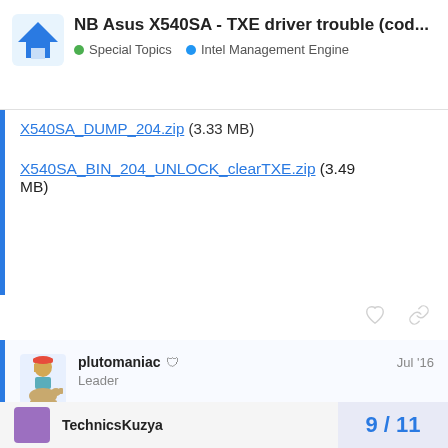NB Asus X540SA - TXE driver trouble (cod... | Special Topics | Intel Management Engine
X540SA_DUMP_204.zip (3.33 MB)
X540SA_BIN_204_UNLOCK_clearTXE.zip (3.49 MB)
plutomaniac  Leader  Jul '16
I can verify that you followed the guide correctly and that settings between 300,204 and Clean TXE regions are correct.
TechnicsKuzya
9 / 11